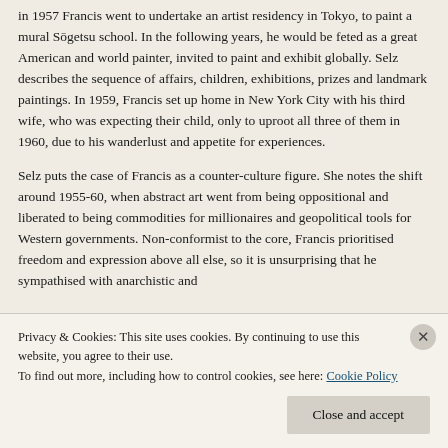in 1957 Francis went to undertake an artist residency in Tokyo, to paint a mural Sōgetsu school. In the following years, he would be feted as a great American and world painter, invited to paint and exhibit globally. Selz describes the sequence of affairs, children, exhibitions, prizes and landmark paintings. In 1959, Francis set up home in New York City with his third wife, who was expecting their child, only to uproot all three of them in 1960, due to his wanderlust and appetite for experiences.
Selz puts the case of Francis as a counter-culture figure. She notes the shift around 1955-60, when abstract art went from being oppositional and liberated to being commodities for millionaires and geopolitical tools for Western governments. Non-conformist to the core, Francis prioritised freedom and expression above all else, so it is unsurprising that he sympathised with anarchistic and
Privacy & Cookies: This site uses cookies. By continuing to use this website, you agree to their use.
To find out more, including how to control cookies, see here: Cookie Policy
Close and accept